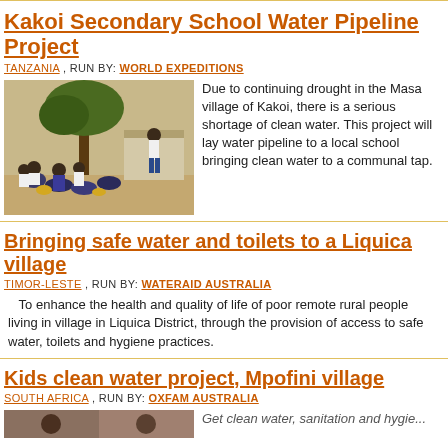Kakoi Secondary School Water Pipeline Project
TANZANIA , RUN BY: WORLD EXPEDITIONS
[Figure (photo): Students sitting outdoors under trees at Kakoi school]
Due to continuing drought in the Masa village of Kakoi, there is a serious shortage of clean water. This project will lay water pipeline to a local school bringing clean water to a communal tap.
Bringing safe water and toilets to a Liquica village
TIMOR-LESTE , RUN BY: WATERAID AUSTRALIA
To enhance the health and quality of life of poor remote rural people living in village in Liquica District, through the provision of access to safe water, toilets and hygiene practices.
Kids clean water project, Mpofini village
SOUTH AFRICA , RUN BY: OXFAM AUSTRALIA
Get clean water, sanitation and hygie...
[Figure (photo): Partial image of children at Mpofini village]